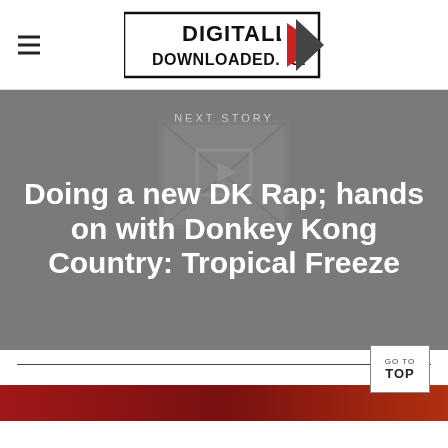Digitally Downloaded.net
NEXT STORY
Doing a new DK Rap; hands on with Donkey Kong Country: Tropical Freeze
LATEST ARTICLES
[Figure (screenshot): Bottom red article strip partially visible]